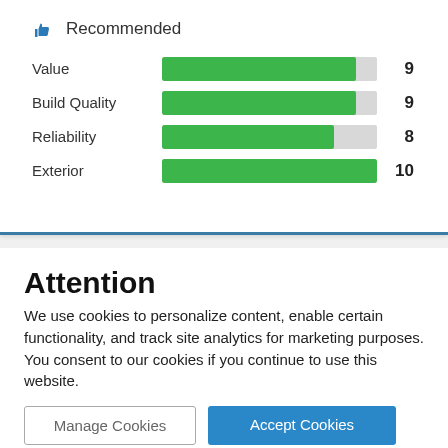Recommended
[Figure (bar-chart): Ratings]
Attention
We use cookies to personalize content, enable certain functionality, and track site analytics for marketing purposes. You consent to our cookies if you continue to use this website.
Manage Cookies
Accept Cookies